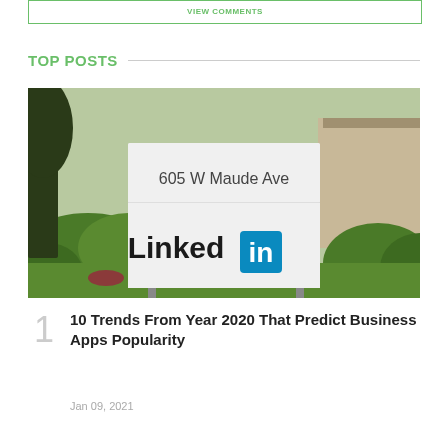VIEW COMMENTS
TOP POSTS
[Figure (photo): LinkedIn headquarters sign at 605 W Maude Ave, with green bushes and trees in the background]
10 Trends From Year 2020 That Predict Business Apps Popularity